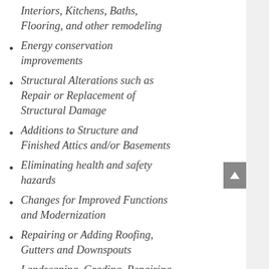Interiors, Kitchens, Baths, Flooring, and other remodeling
Energy conservation improvements
Structural Alterations such as Repair or Replacement of Structural Damage
Additions to Structure and Finished Attics and/or Basements
Eliminating health and safety hazards
Changes for Improved Functions and Modernization
Repairing or Adding Roofing, Gutters and Downspouts
Landscaping, Grading, Repairing Patios and Terraces that Improve